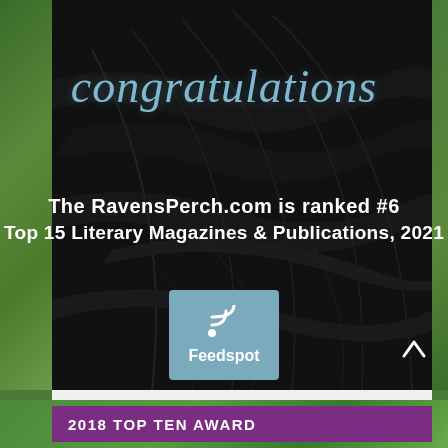[Figure (illustration): Dark black feather background with congratulations script text, ranked #6 award notice, and Feedspot logo badge on a dark background. Green foliage visible on sides.]
congratulations
The RavensPerch.com is ranked #6
Top 15 Literary Magazines & Publications, 2021
[Figure (logo): Feedspot logo: blue-grey square with RSS/wifi icon and 'Feedspot' text in white]
2018 TOP TEN AWARD